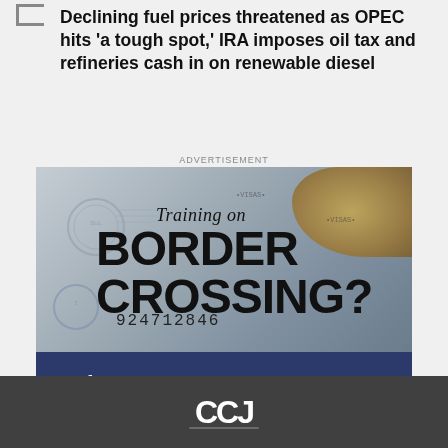Declining fuel prices threatened as OPEC hits 'a tough spot,' IRA imposes oil tax and refineries cash in on renewable diesel
ADVERTISEMENT
[Figure (photo): Advertisement for CarriersEDGE training course on Border Crossing. Top half shows a passport photo with text 'Training on BORDER CROSSING? 924712846'. Bottom half is dark blue with text '...of course we've got it.' and the CarriersEDGE logo.]
[Figure (logo): Footer with dark gray background showing partial logo (likely CCJ or similar trucking publication logo)]